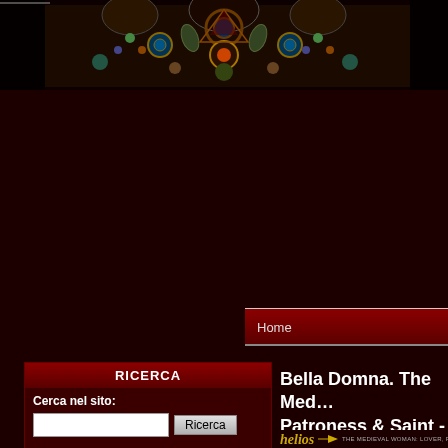[Figure (photo): Header banner showing ornate medieval stained glass ceiling/window with colorful geometric and floral patterns in blues, reds, greens and gold on dark background]
Home
RICERCA
Cerca nel sito:
Ricerca
Ricerca avanzata
Bella Domna. The Medieval Woman: Patroness & Saint - CD...
[Figure (logo): Helios logo with stylized text and tagline THE MEDIEVAL WOMAN: LOVER, POET,...]